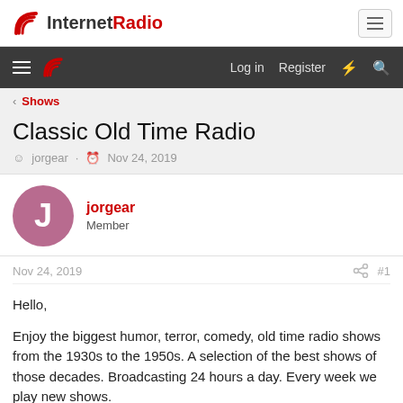InternetRadio
Log in  Register
< Shows
Classic Old Time Radio
jorgear · Nov 24, 2019
jorgear
Member
Nov 24, 2019  #1
Hello,

Enjoy the biggest humor, terror, comedy, old time radio shows from the 1930s to the 1950s. A selection of the best shows of those decades. Broadcasting 24 hours a day. Every week we play new shows.